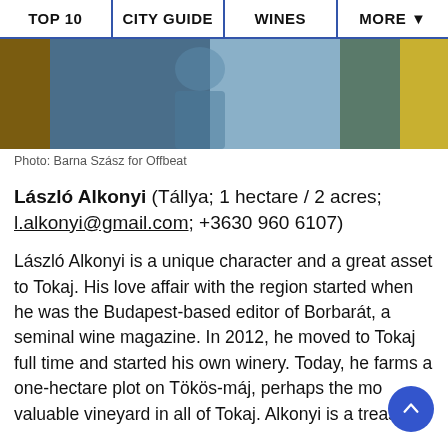TOP 10 | CITY GUIDE | WINES | MORE ▼
[Figure (photo): Photo of a person in a blue puffer jacket standing outdoors, with foliage visible on the right side.]
Photo: Barna Szász for Offbeat
László Alkonyi (Tállya; 1 hectare / 2 acres; l.alkonyi@gmail.com; +3630 960 6107)
László Alkonyi is a unique character and a great asset to Tokaj. His love affair with the region started when he was the Budapest-based editor of Borbarát, a seminal wine magazine. In 2012, he moved to Tokaj full time and started his own winery. Today, he farms a one-hectare plot on Tökös-máj, perhaps the mo… valuable vineyard in all of Tokaj. Alkonyi is a treasure